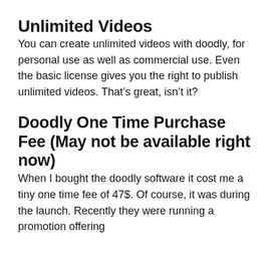Unlimited Videos
You can create unlimited videos with doodly, for personal use as well as commercial use. Even the basic license gives you the right to publish unlimited videos. That’s great, isn’t it?
Doodly One Time Purchase Fee (May not be available right now)
When I bought the doodly software it cost me a tiny one time fee of 47$. Of course, it was during the launch. Recently they were running a promotion offering